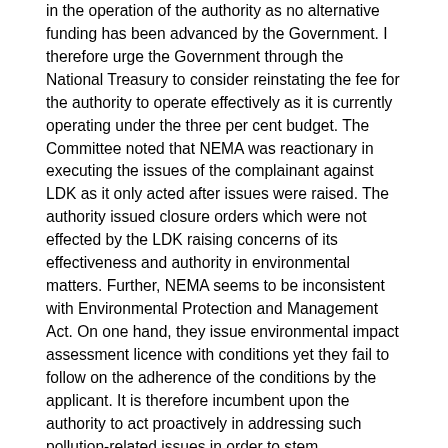in the operation of the authority as no alternative funding has been advanced by the Government. I therefore urge the Government through the National Treasury to consider reinstating the fee for the authority to operate effectively as it is currently operating under the three per cent budget. The Committee noted that NEMA was reactionary in executing the issues of the complainant against LDK as it only acted after issues were raised. The authority issued closure orders which were not effected by the LDK raising concerns of its effectiveness and authority in environmental matters. Further, NEMA seems to be inconsistent with Environmental Protection and Management Act. On one hand, they issue environmental impact assessment licence with conditions yet they fail to follow on the adherence of the conditions by the applicant. It is therefore incumbent upon the authority to act proactively in addressing such pollution-related issues in order to stem environmental degradation in line with the precautionary principle in international environmental law. We also note that the area in question had changed user through the defunct Municipal Council of Machakos. The change of user allowed a mix of use for both industrial and residential purposes. This could have been the source of conflict between the two protagonists. It is therefore incumbent upon the County Government of Machakos